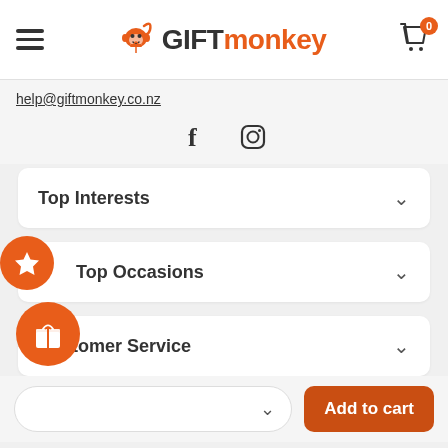GIFTmonkey — Navigation header with hamburger menu, logo, and cart (0 items)
help@giftmonkey.co.nz
[Figure (logo): Facebook and Instagram social media icons]
Top Interests
Top Occasions
Customer Service
nkey (partially visible accordion item)
Add to cart button and dropdown selector